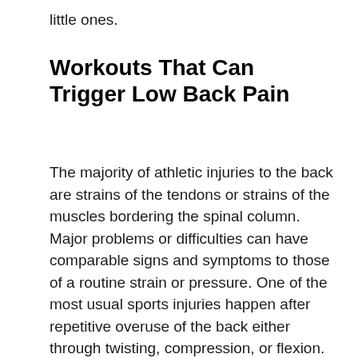little ones.
Workouts That Can Trigger Low Back Pain
The majority of athletic injuries to the back are strains of the tendons or strains of the muscles bordering the spinal column. Major problems or difficulties can have comparable signs and symptoms to those of a routine strain or pressure. One of the most usual sports injuries happen after repetitive overuse of the back either through twisting, compression, or flexion. High effect sports such as running, football, or volley ball can commonly create low back pain. Sports like golf, in which recurring turning is frequently included, can additionally cause reduced